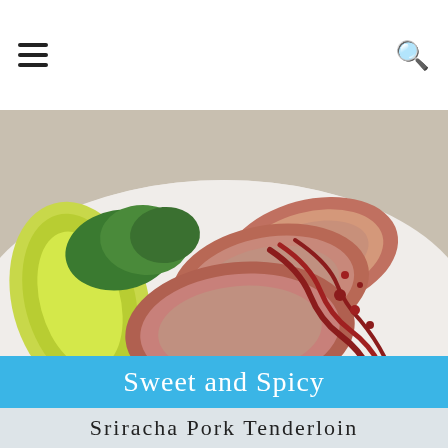≡  🔍
[Figure (photo): Sliced pork tenderloin with red sriracha glaze drizzled on top, served on a white plate with lime wedge and green lettuce leaves]
Sweet and Spicy
Sriracha Pork Tenderloin